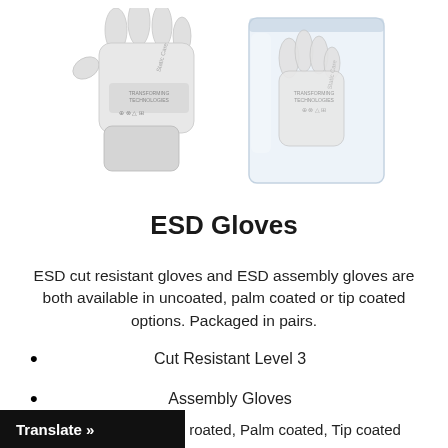[Figure (photo): Two ESD gloves shown: one single glove displayed front-facing on the left, and two gloves packaged in a clear plastic bag on the right. Both are white/light grey with branding text 'Static Care' and 'Transforming Technologies' logos.]
ESD Gloves
ESD cut resistant gloves and ESD assembly gloves are both available in uncoated, palm coated or tip coated options. Packaged in pairs.
Cut Resistant Level 3
Assembly Gloves
roated, Palm coated, Tip coated